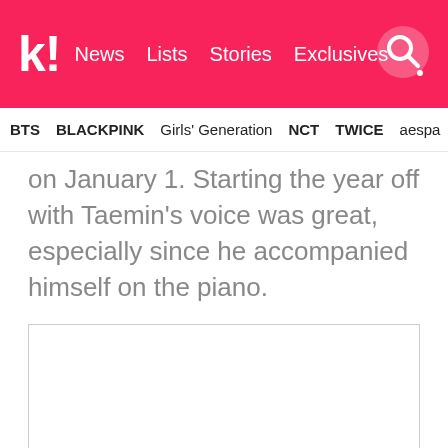kl! News  Lists  Stories  Exclusives
BTS  BLACKPINK  Girls' Generation  NCT  TWICE  aespa
on January 1. Starting the year off with Taemin's voice was great, especially since he accompanied himself on the piano.
[Figure (photo): White blank image placeholder area]